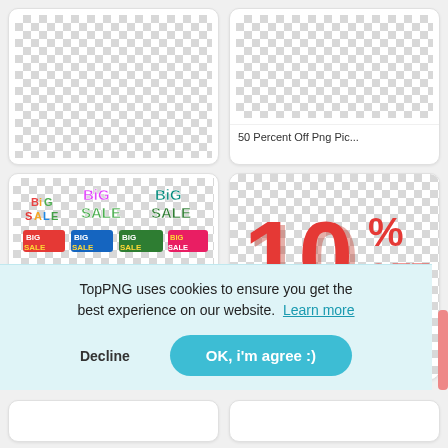[Figure (screenshot): Top-left image card: empty white/light card with checker background, no visible image]
[Figure (screenshot): Top-right image card: checker pattern background with label '50 Percent Off Png Pic...']
50 Percent Off Png Pic...
[Figure (illustration): Middle-left card: Big Sale PNG collection with colorful 3D text variations: BIG SALE in rainbow, green, teal colors; BIG SALE banners; 30off 50off 33off 70off percentage text]
[Figure (illustration): Middle-right card: Red 3D '10% OFF' text on checker background, partially showing '50%' text below]
Big
TopPNG uses cookies to ensure you get the best experience on our website.  Learn more
Decline
OK, i'm agree :)